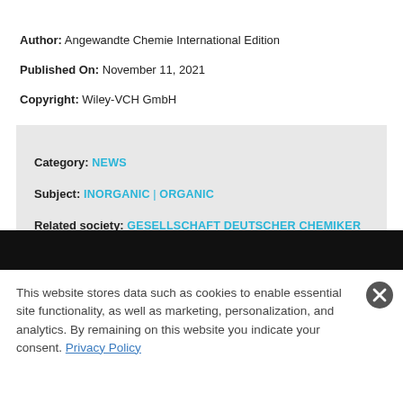Author: Angewandte Chemie International Edition
Published On: November 11, 2021
Copyright: Wiley-VCH GmbH
Category: NEWS
Subject: INORGANIC | ORGANIC
Related society: GESELLSCHAFT DEUTSCHER CHEMIKER (GDCH), GERMANY
This website stores data such as cookies to enable essential site functionality, as well as marketing, personalization, and analytics. By remaining on this website you indicate your consent. Privacy Policy